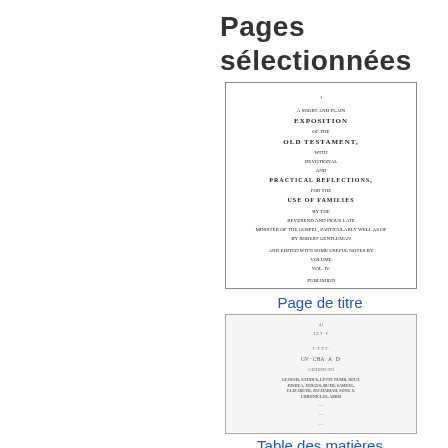Pages sélectionnées
[Figure (photo): Scanned title page of an old book: 'A Short and Plain Exposition of the Old Testament, with Devotional and Practical Reflections, for the Use of Families']
Page de titre
[Figure (photo): Scanned table of contents page of the same old book, showing faded text listing books of the Old Testament]
Table des matières